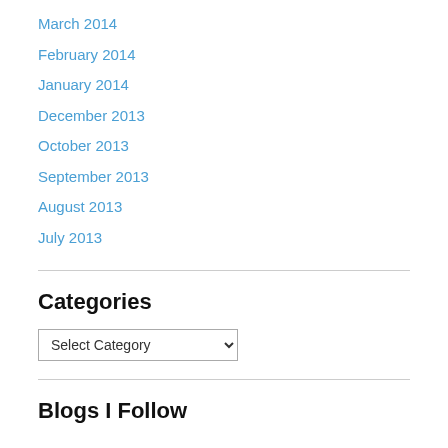March 2014
February 2014
January 2014
December 2013
October 2013
September 2013
August 2013
July 2013
Categories
Select Category
Blogs I Follow
markmdmph
Truth and Cake
Girl and Pup